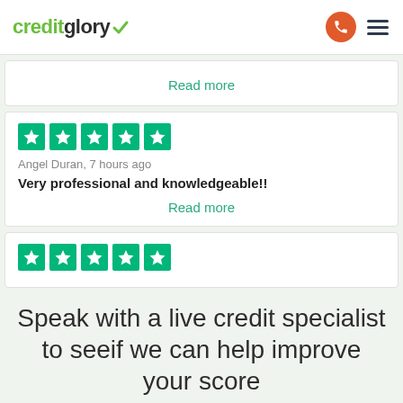[Figure (logo): Credit Glory logo with green text and checkmark]
Read more
[Figure (other): 5 green star rating boxes (Trustpilot style)]
Angel Duran, 7 hours ago
Very professional and knowledgeable!!
Read more
[Figure (other): 5 green star rating boxes (Trustpilot style)]
Speak with a live credit specialist to seeif we can help improve your score